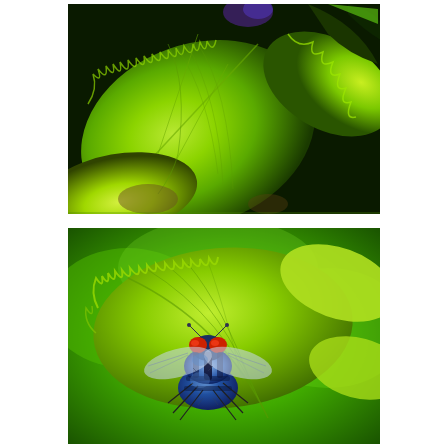[Figure (photo): Close-up macro photograph of bright green serrated/toothed leaves with visible leaf venation, shot against a dark background. The leaves appear to be from a stinging nettle or similar plant. A partial view of a dark insect or flower is visible at the top.]
[Figure (photo): Close-up macro photograph of a blowfly (bottle fly) with a metallic blue-black body and red compound eyes, resting on a bright green leaf with serrated edges and visible venation. The background is blurred green foliage.]